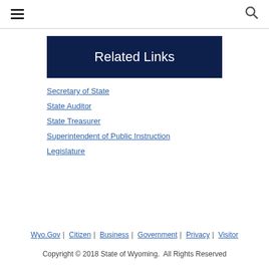Related Links
Secretary of State
State Auditor
State Treasurer
Superintendent of Public Instruction
Legislature
Wyo.Gov | Citizen | Business | Government | Privacy | Visitor
Copyright © 2018 State of Wyoming.  All Rights Reserved